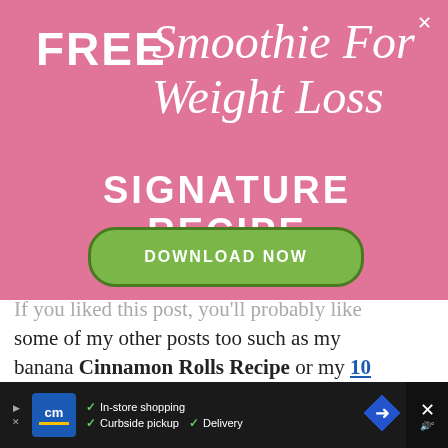[Figure (infographic): Pink promotional banner ad with text 'FREE Smoothie For Weight Loss SIGNATURE RECIPE' and a green 'DOWNLOAD NOW' button, with a close (×) icon in the top-right corner.]
If you liked this post, you'll probably like some of my other posts too such as my banana Cinnamon Rolls Recipe or my 10 Second Banana Ice Cream Recipe.
Facts About Bananas
[Figure (infographic): Bottom advertisement bar with a CM logo, checkmarks listing 'In-store shopping', 'Curbside pickup', 'Delivery', a blue diamond arrow, and a close X button.]